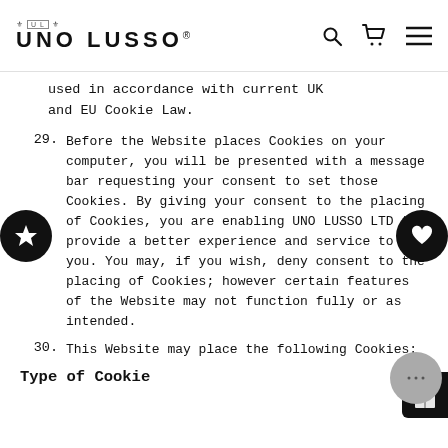UNO LUSSO
used in accordance with current UK and EU Cookie Law.
29. Before the Website places Cookies on your computer, you will be presented with a message bar requesting your consent to set those Cookies. By giving your consent to the placing of Cookies, you are enabling UNO LUSSO LTD to provide a better experience and service to you. You may, if you wish, deny consent to the placing of Cookies; however certain features of the Website may not function fully or as intended.
30. This Website may place the following Cookies:
Type of Cookie